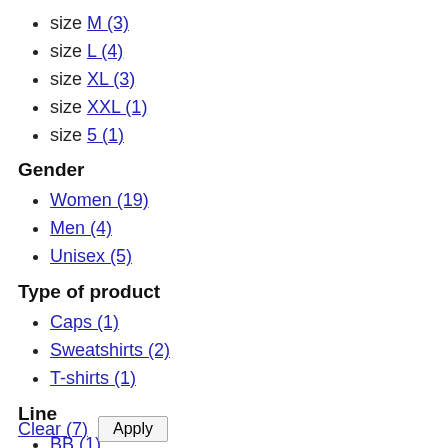size M (3)
size L (4)
size XL (3)
size XXL (1)
size 5 (1)
Gender
Women (19)
Men (4)
Unisex (5)
Type of product
Caps (1)
Sweatshirts (2)
T-shirts (1)
Line
BB (1)
Political (1)
Clear (7)  Apply